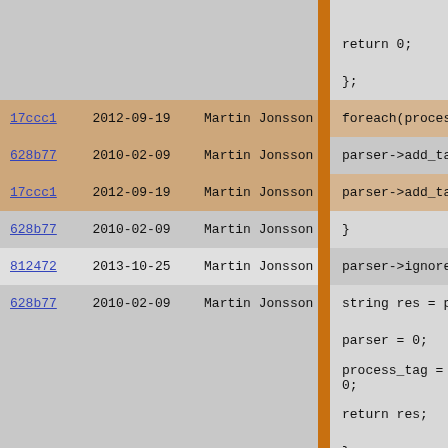[Figure (screenshot): Git blame view showing commit hashes (17ccc1, 628b77, 812472), dates (2012-09-19, 2010-02-09, 2013-10-25), author (Martin Jonsson), and corresponding C++ source code lines including foreach, parser->add_tag, parser->ignore_unk, string res, class Frame block, and mapping|void filter(ma...]
return 0;
    };
foreach(process_ta
parser->add_tag(
parser->add_tag(
}

parser->ignore_unk
string res = parse
parser = 0;
process_tag = 0;
return res;
};

class Frame
{
    inherit RXML.Frame
    array do_return(Re
    {
        result = mangle_
    }
}
}
mapping|void filter(ma